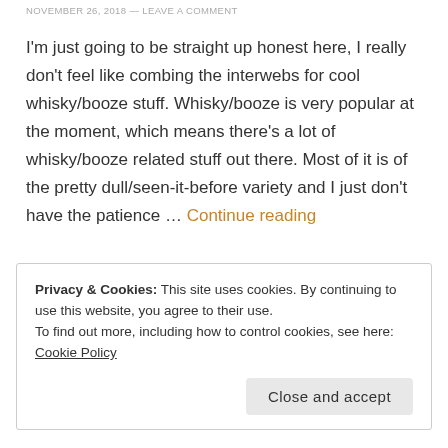NOVEMBER 26, 2018 — LEAVE A COMMENT
I'm just going to be straight up honest here, I really don't feel like combing the interwebs for cool whisky/booze stuff. Whisky/booze is very popular at the moment, which means there's a lot of whisky/booze related stuff out there. Most of it is of the pretty dull/seen-it-before variety and I just don't have the patience … Continue reading
Privacy & Cookies: This site uses cookies. By continuing to use this website, you agree to their use.
To find out more, including how to control cookies, see here: Cookie Policy